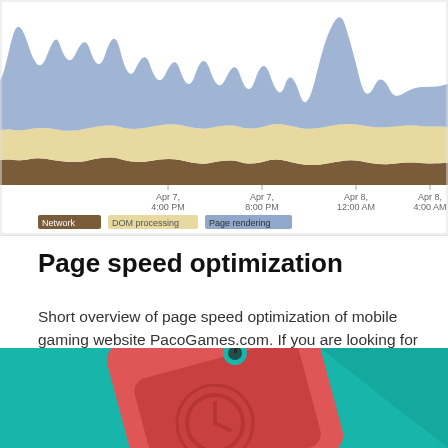[Figure (area-chart): Stacked area chart showing Network (dark brown), DOM processing (light yellow), and Page rendering (blue/grey) metrics over time from Apr 7 4:00 PM to Apr 8 4:00 AM]
Page speed optimization
Short overview of page speed optimization of mobile gaming website PacoGames.com. If you are looking for free games to play or use in your…
GameArter
Apr 21, 2019 · 8 min read
[Figure (illustration): Illustration of a red price tag with a clock icon on a teal/green background]